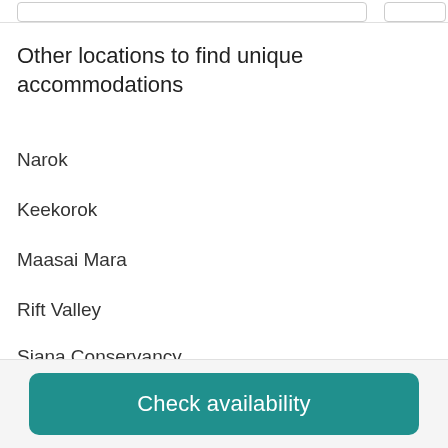Other locations to find unique accommodations
Narok
Keekorok
Maasai Mara
Rift Valley
Siana Conservancy
Talek
Check availability